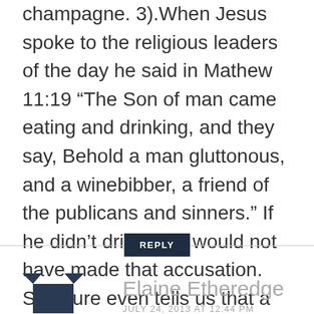champagne. 3).When Jesus spoke to the religious leaders of the day he said in Mathew 11:19 “The Son of man came eating and drinking, and they say, Behold a man gluttonous, and a winebibber, a friend of the publicans and sinners.” If he didn’t drink they would not have made that accusation. Scripture even tells us that a little wine is good for the stomach ( 1 Timothy 5:23). So, I could see us having a drink with Jesus.
REPLY
[Figure (illustration): Dark navy blue dog/animal silhouette avatar icon]
Elaine Etheredge
JULY 24, 2013 AT 12:44 PM